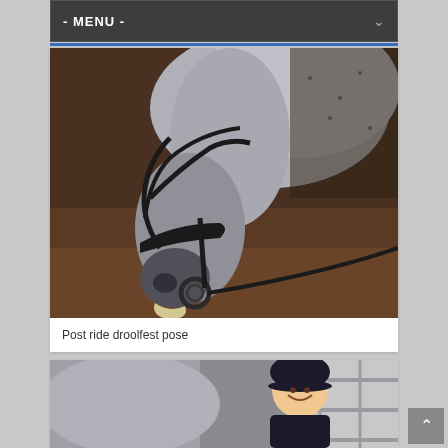- MENU -
[Figure (photo): Close-up photograph of a grey horse's head with a black bridle and bit, drooping lips showing after a ride, in an indoor arena with sandy floor.]
Post ride droolfest pose
[Figure (photo): Partial view of a grey horse's neck/shoulder with a smiling rider wearing a black riding helmet, photographed in an indoor arena.]